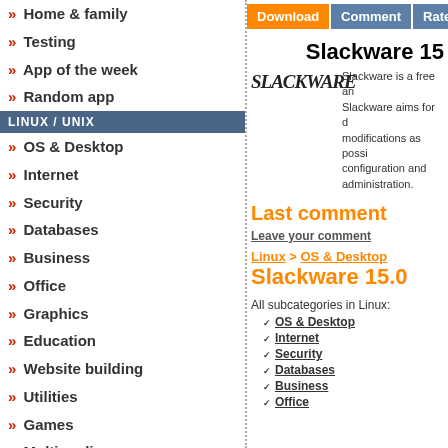» Home & family
» Testing
» App of the week
» Random app
LINUX / UNIX
» OS & Desktop
» Internet
» Security
» Databases
» Business
» Office
» Graphics
» Education
» Website building
» Utilities
» Games
» Multimedia
» Latest
Download | Comment | Rate | For
Slackware 15
Slackware is a free and... Slackware aims for d... modifications as possible... configuration and administration.
Last comment
Leave your comment
Linux > OS & Desktop
Slackware 15.0
All subcategories in Linux:
OS & Desktop
Internet
Security
Databases
Business
Office